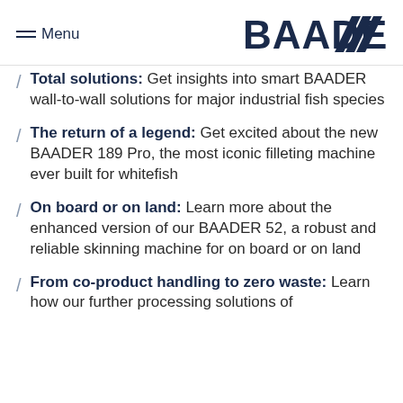Menu | BAADER logo
Total solutions: Get insights into smart BAADER wall-to-wall solutions for major industrial fish species
The return of a legend: Get excited about the new BAADER 189 Pro, the most iconic filleting machine ever built for whitefish
On board or on land: Learn more about the enhanced version of our BAADER 52, a robust and reliable skinning machine for on board or on land
From co-product handling to zero waste: Learn how our further processing solutions of